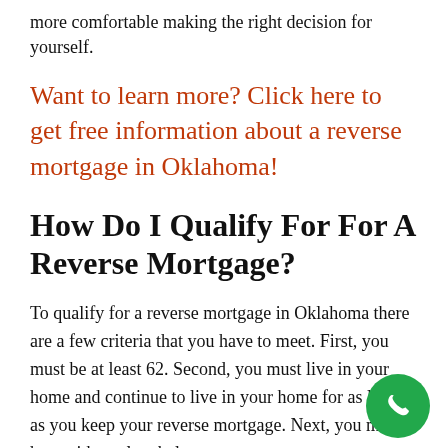more comfortable making the right decision for yourself.
Want to learn more? Click here to get free information about a reverse mortgage in Oklahoma!
How Do I Qualify For For A Reverse Mortgage?
To qualify for a reverse mortgage in Oklahoma there are a few criteria that you have to meet. First, you must be at least 62. Second, you must live in your home and continue to live in your home for as long as you keep your reverse mortgage. Next, you must have either a low balance on your current mortgage, or it must be paid off in full. You also need to demonstrate that you can make your